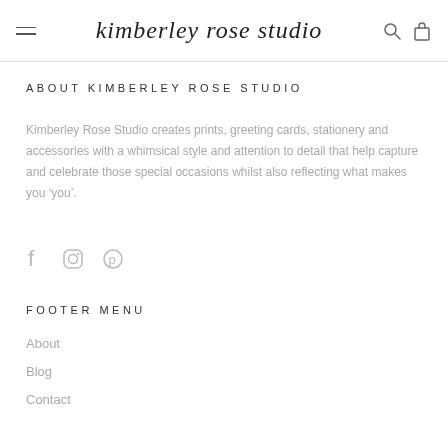kimberley rose studio
ABOUT KIMBERLEY ROSE STUDIO
Kimberley Rose Studio creates prints, greeting cards, stationery and accessories with a whimsical style and attention to detail that help capture and celebrate those special occasions whilst also reflecting what makes you ‘you’.
[Figure (other): Social media icons: Facebook, Instagram, Pinterest]
FOOTER MENU
About
Blog
Contact